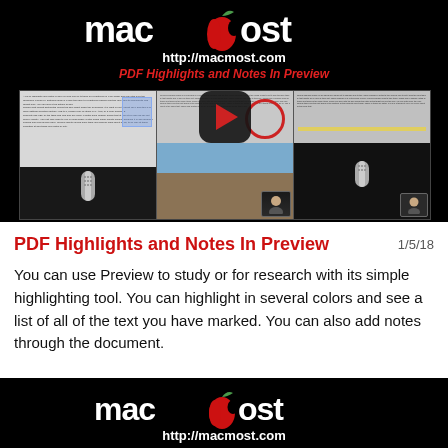[Figure (screenshot): MacMost website header with logo (mac+apple icon+ost), URL http://macmost.com, red italic title 'PDF Highlights and Notes In Preview', and a video thumbnail with play button showing PDF Preview screenshots and microphone/webcam footage]
PDF Highlights and Notes In Preview
1/5/18
You can use Preview to study or for research with its simple highlighting tool. You can highlight in several colors and see a list of all of the text you have marked. You can also add notes through the document.
[Figure (screenshot): MacMost website footer banner with logo and http://macmost.com on black background]